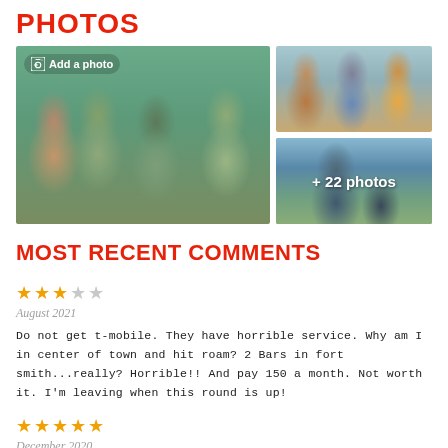PHOTOS
[Figure (photo): Photo grid showing a group selfie of four people outdoors on the left, two smaller photos on the right: top shows three people with phones, bottom shows two people on water with overlay text '+ 22 photos'. An 'Add a photo' button overlay is on the main left photo.]
MOST RECENT COMMENTS
[Figure (other): 3-star rating (3 filled stars, 2 empty stars)]
August 2021
Do not get t-mobile. They have horrible service. Why am I in center of town and hit roam? 2 Bars in fort smith...really? Horrible!! And pay 150 a month. Not worth it. I'm leaving when this round is up!
[Figure (other): 5-star rating (5 filled stars)]
December 2020